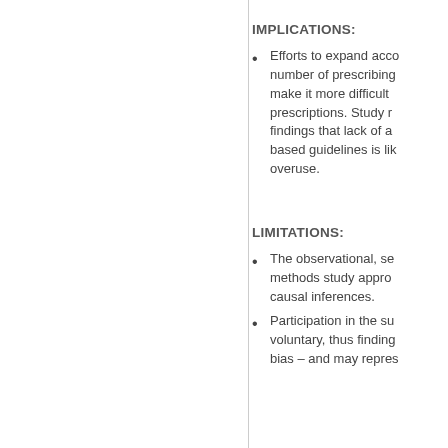IMPLICATIONS:
Efforts to expand access, number of prescribing, make it more difficult to prescriptions. Study results findings that lack of awareness-based guidelines is likely overuse.
LIMITATIONS:
The observational, secondary methods study approach causal inferences.
Participation in the survey voluntary, thus findings bias – and may represent